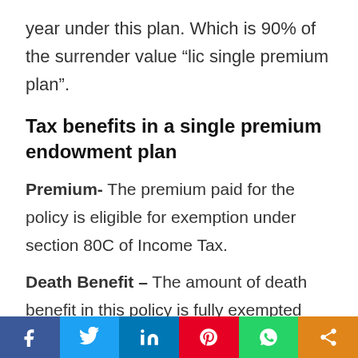year under this plan. Which is 90% of the surrender value “lic single premium plan”.
Tax benefits in a single premium endowment plan
Premium- The premium paid for the policy is eligible for exemption under section 80C of Income Tax.
Death Benefit – The amount of death benefit in this policy is fully exempted under section (10d) of income tax
[Figure (infographic): Social media share bar with icons for Facebook, Twitter, LinkedIn, Pinterest, WhatsApp, and a generic share button]